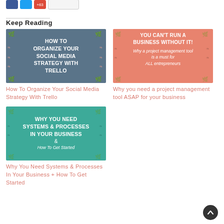Keep Reading
[Figure (illustration): Dark slate blue card image with white bold text 'HOW TO ORGANIZE YOUR SOCIAL MEDIA STRATEGY WITH TRELLO' and floral/leaf corner decorations in pink]
How To Organize Your Social Media Strategy With Trello
[Figure (illustration): Coral/salmon card image with white bold text 'YOU CAN'T RUN A BUSINESS WITHOUT IT!' and italic subtitle 'Why a project management tool is a must for ALL entrepreneurs' with floral decorations]
Why you need a project management tool ASAP for your business
[Figure (illustration): Teal card image with white bold text 'WHY YOU NEED SYSTEMS & PROCESSES IN YOUR BUSINESS' and italic subtitle '& How To Get Started' with floral corner decorations]
Why You Need Systems & Processes In Your Business + How To Get Started